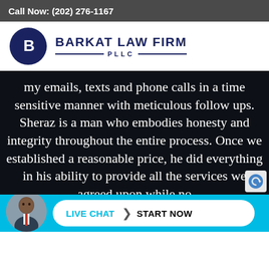Call Now: (202) 276-1167
[Figure (logo): Barkat Law Firm PLLC logo — circular dark navy emblem with letter B, next to bold text 'BARKAT LAW FIRM' and 'PLLC']
my emails, texts and phone calls in a time sensitive manner with meticulous follow ups. Sheraz is a man who embodies honesty and integrity throughout the entire process. Once we established a reasonable price, he did everything in his ability to provide all the services we agreed upon while no
[Figure (photo): Avatar photo of a professional man in a suit, partially visible at the bottom left]
LIVE CHAT ❯ START NOW